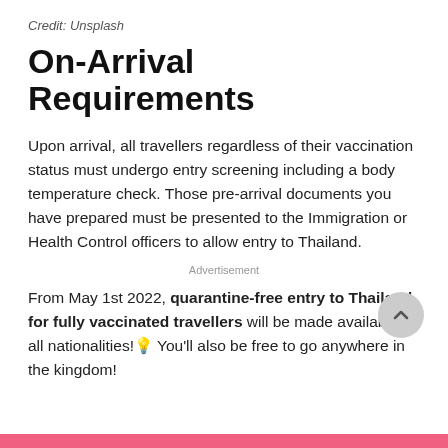Credit: Unsplash
On-Arrival Requirements
Upon arrival, all travellers regardless of their vaccination status must undergo entry screening including a body temperature check. Those pre-arrival documents you have prepared must be presented to the Immigration or Health Control officers to allow entry to Thailand.
Advertisement
From May 1st 2022, quarantine-free entry to Thailand for fully vaccinated travellers will be made available to all nationalities! 🎉 You'll also be free to go anywhere in the kingdom!